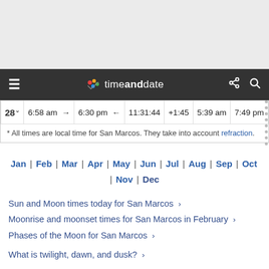timeanddate.com navigation bar
| 28 | 6:58 am → | 6:30 pm ← | 11:31:44 | +1:45 | 5:39 am | 7:49 pm |
| --- | --- | --- | --- | --- | --- | --- |
Jan | Feb | Mar | Apr | May | Jun | Jul | Aug | Sep | Oct | Nov | Dec
Sun and Moon times today for San Marcos ›
Moonrise and moonset times for San Marcos in February ›
Phases of the Moon for San Marcos ›
What is twilight, dawn, and dusk? ›